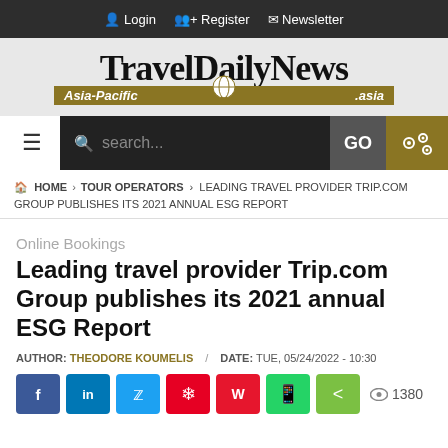Login  Register  Newsletter
[Figure (logo): TravelDailyNews Asia-Pacific .asia logo on grey background]
[Figure (screenshot): Navigation bar with hamburger menu, search field, GO button, and settings icon]
HOME > TOUR OPERATORS > LEADING TRAVEL PROVIDER TRIP.COM GROUP PUBLISHES ITS 2021 ANNUAL ESG REPORT
Online Bookings
Leading travel provider Trip.com Group publishes its 2021 annual ESG Report
AUTHOR: THEODORE KOUMELIS / DATE: TUE, 05/24/2022 - 10:30
[Figure (infographic): Social sharing buttons: Facebook, LinkedIn, Twitter, Pinterest, Weibo, WhatsApp, Share, and views count 1380]